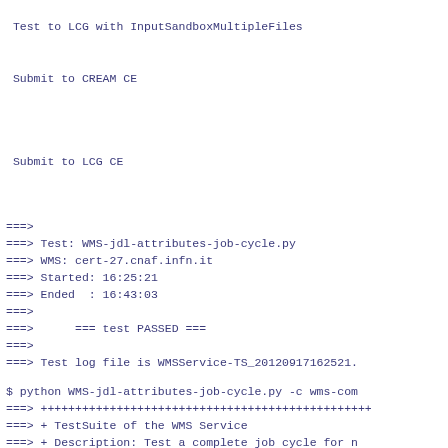Test to LCG with InputSandboxMultipleFiles
Submit to CREAM CE
Submit to LCG CE
===>
===> Test: WMS-jdl-attributes-job-cycle.py
===> WMS: cert-27.cnaf.infn.it
===> Started: 16:25:21
===> Ended  : 16:43:03
===>
===>      === test PASSED ===
===>
===> Test log file is WMSService-TS_20120917162521.
$ python WMS-jdl-attributes-job-cycle.py -c wms-com
===> ++++++++++++++++++++++++++++++++++++++++++++++
===> + TestSuite of the WMS Service
===> + Description: Test a complete job cycle for n
===> ++++++++++++++++++++++++++++++++++++++++++++++
Enter the user proxy password: